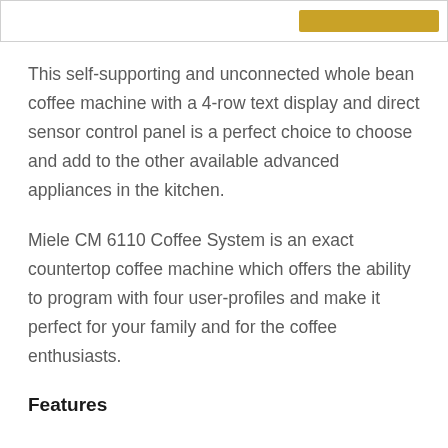This self-supporting and unconnected whole bean coffee machine with a 4-row text display and direct sensor control panel is a perfect choice to choose and add to the other available advanced appliances in the kitchen.
Miele CM 6110 Coffee System is an exact countertop coffee machine which offers the ability to program with four user-profiles and make it perfect for your family and for the coffee enthusiasts.
Features